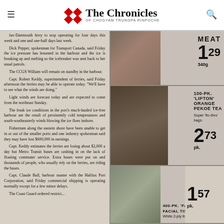The Chronicles of Chogyam Trungpa Rinpoche
fax-Dartmouth ferry to stop operating for four days this week and one and one-half days last week. Dick Pepper, spokesman for Transport Canada, said Friday the ice pressure has lessened in the harbour and the ice is breaking up and melting so the icebreaker was sent back to her usual patrols. The CCGS William will remain on standby in the harbour. Capt. Robert Keddy, superintendent of ferries, said Friday afternoon the ferries may be able to operate today. "We'll have to see what the winds are doing." Light winds are forecast today and are expected to come from the northeast Sunday. The freak ice conditions in the port's much-lauded ice-free harbour are the result of persistently cold temperatures and south-southeasterly winds blowing the ice floes inshore. Fishermen along the eastern shore have been unable to get in or out of the smaller ports and one industry spokesman said they may have lost $600,000 in earnings. Capt. Keddy estimates the ferries are losing about $2,000 a day but Metro Transit buses are cashing in on the lack of floating commuter service. Extra buses were put on and thousands of people, who usually rely on the ferries, are riding the buses. Capt. Claude Ball, harbour master with the Halifax Port Corporation, said Friday commercial shipping is operating normally except for a few minor delays. The Coast Guard ordered restrict...
[Figure (photo): Advertisement photo of meat product]
MEAT 1.29 340g
[Figure (photo): Advertisement photo of Lipton 100-pk Orange Pekoe Tea box]
100-PK. 'LIPTON' ORANGE PEKOE TEA Super 'flo-thru' bags. 2.73 pk.
[Figure (photo): Advertisement photo of Facettes facial tissues boxes]
400-PK. 'FACETTES' FACIAL TISSUES White 2-ply tissue. 1.57 pk.